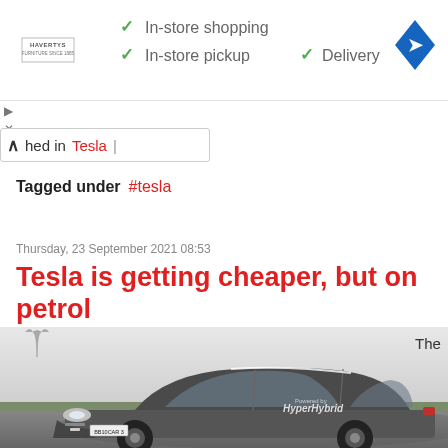[Figure (screenshot): Ad banner for Havertys furniture showing checkmarks for In-store shopping, In-store pickup, and Delivery, with a blue navigation diamond icon]
hed in  Tesla
Tagged under  #tesla
Thursday, 23 September 2021 08:53
Tesla is getting cheaper, but on petrol
[Figure (photo): A dark gray sports car (Panamera-like) with HyperHybrid branding on the door, driving on a track in foggy conditions. License plate reads BB10CAR 3. A Tesla-like logo floats to the upper left.]